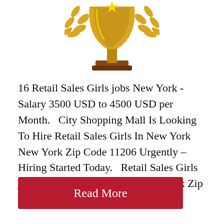[Figure (illustration): Gold trophy with laurel leaves on a brown wooden base, partially cropped at the top of the page]
16 Retail Sales Girls jobs New York - Salary 3500 USD to 4500 USD per Month.   City Shopping Mall Is Looking To Hire Retail Sales Girls In New York New York Zip Code 11206 Urgently – Hiring Started Today.   Retail Sales Girls jobs available in New York New York Zip Code 11206 We...
Read More